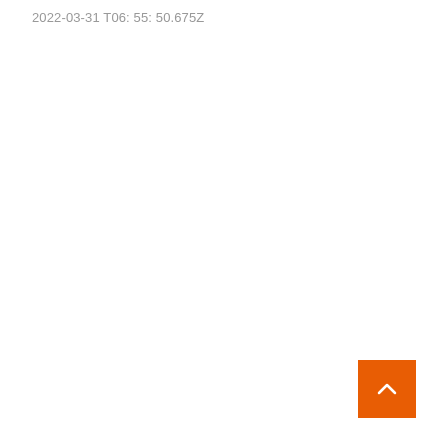2022-03-31 T06: 55: 50.675Z
[Figure (other): Orange square button with a white upward-pointing chevron arrow (back-to-top button) positioned at bottom right of page]